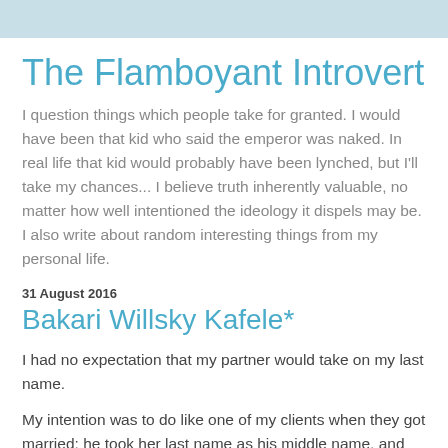The Flamboyant Introvert
I question things which people take for granted. I would have been that kid who said the emperor was naked. In real life that kid would probably have been lynched, but I'll take my chances... I believe truth inherently valuable, no matter how well intentioned the ideology it dispels may be. I also write about random interesting things from my personal life.
31 August 2016
Bakari Willsky Kafele*
I had no expectation that my partner would take on my last name.
My intention was to do like one of my clients when they got married: he took her last name as his middle name, and she took his last name as her middle.